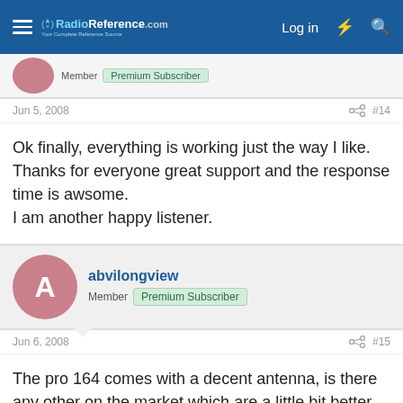RadioReference.com — Log in
Member  Premium Subscriber
Jun 5, 2008  #14
Ok finally, everything is working just the way I like.
Thanks for everyone great support and the response time is awsome.
I am another happy listener.
abvilongview
Member  Premium Subscriber
Jun 6, 2008  #15
The pro 164 comes with a decent antenna, is there any other on the market which are a little bit better.
n2mdk
Member